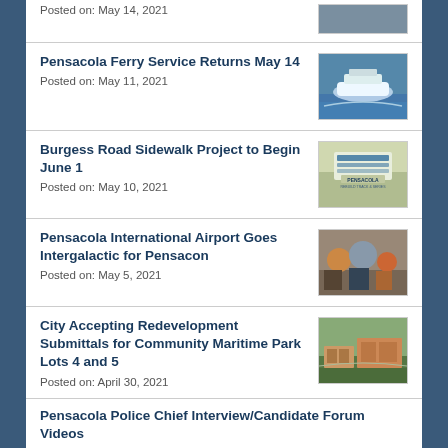Posted on: May 14, 2021
Pensacola Ferry Service Returns May 14
Posted on: May 11, 2021
[Figure (photo): Ferry boat on water]
Burgess Road Sidewalk Project to Begin June 1
Posted on: May 10, 2021
[Figure (photo): Pensacola sidewalk/paving project sign]
Pensacola International Airport Goes Intergalactic for Pensacon
Posted on: May 5, 2021
[Figure (photo): People in costumes at airport event]
City Accepting Redevelopment Submittals for Community Maritime Park Lots 4 and 5
Posted on: April 30, 2021
[Figure (photo): Aerial view of Community Maritime Park]
Pensacola Police Chief Interview/Candidate Forum Videos